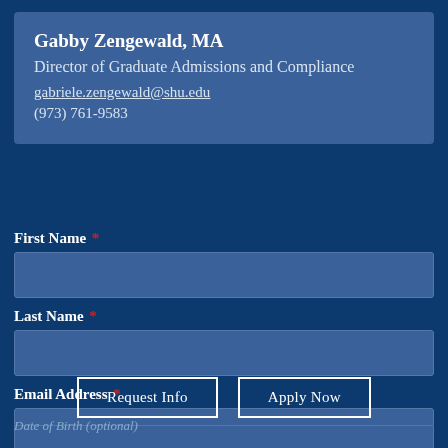Gabby Zengewald, MA
Director of Graduate Admissions and Compliance
gabriele.zengewald@shu.edu
(973) 761-9583
First Name *
Last Name *
Email Address *
Request Info
Apply Now
Date of Birth (optional)